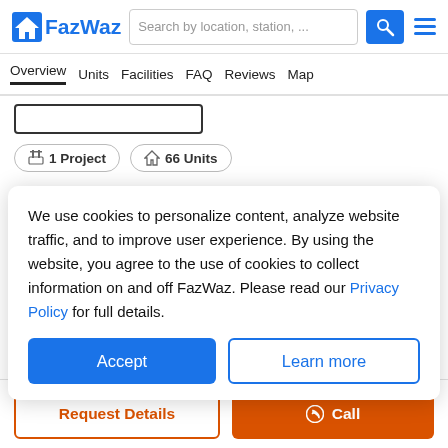FazWaz — Search by location, station, ...
Overview  Units  Facilities  FAQ  Reviews  Map
1 Project   66 Units
Escape the city streets and unwind with gorgeous sea views at The Unity Patong. Located near the tranquil mountainside, the area is
We use cookies to personalize content, analyze website traffic, and to improve user experience. By using the website, you agree to the use of cookies to collect information on and off FazWaz. Please read our Privacy Policy for full details.
Accept
Learn more
Request Details
Call